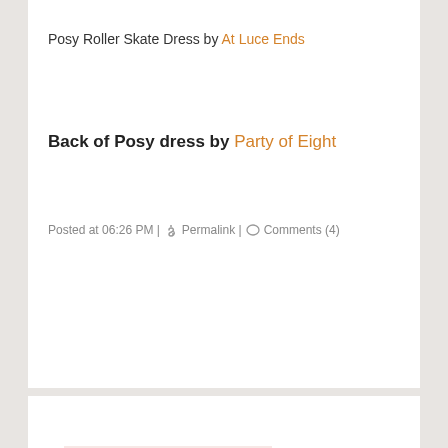Posy Roller Skate Dress by At Luce Ends
Back of Posy dress by Party of Eight
Posted at 06:26 PM | Permalink | Comments (4)
[Figure (other): Pink shop block with orange SHOP text, navigation arrows on left and right]